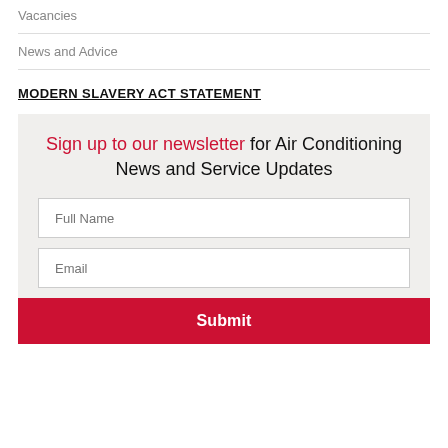Vacancies
News and Advice
MODERN SLAVERY ACT STATEMENT
Sign up to our newsletter for Air Conditioning News and Service Updates
Full Name
Email
Submit